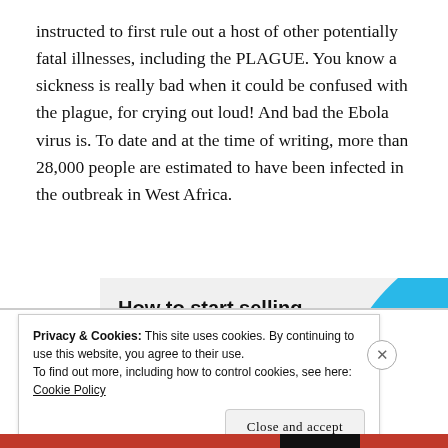instructed to first rule out a host of other potentially fatal illnesses, including the PLAGUE. You know a sickness is really bad when it could be confused with the plague, for crying out loud! And bad the Ebola virus is. To date and at the time of writing, more than 28,000 people are estimated to have been infected in the outbreak in West Africa.
[Figure (infographic): Advertisement banner with bold text 'How to start selling subscriptions online', a purple button, and a cyan/blue decorative shape on the right side.]
Privacy & Cookies: This site uses cookies. By continuing to use this website, you agree to their use.
To find out more, including how to control cookies, see here: Cookie Policy
Close and accept